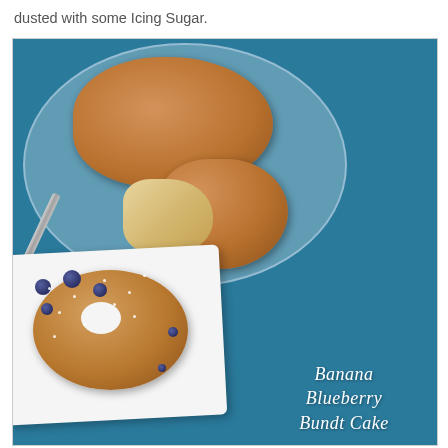dusted with some Icing Sugar.
[Figure (photo): Overhead food photography of Banana Blueberry Bundt Cake. Top half shows a glass plate with bundt cake pieces and a fork on a teal/blue background. Bottom half shows a small individual bundt cake dusted with icing sugar and topped with blueberries on a white rectangular plate, also on the teal background. Text overlay reads 'Banana Blueberry Bundt Cake' in white italic script.]